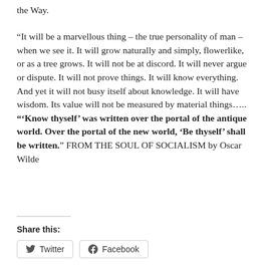the Way.
“It will be a marvellous thing – the true personality of man – when we see it. It will grow naturally and simply, flowerlike, or as a tree grows. It will not be at discord. It will never argue or dispute. It will not prove things. It will know everything. And yet it will not busy itself about knowledge. It will have wisdom. Its value will not be measured by material things….. “‘Know thyself’ was written over the portal of the antique world. Over the portal of the new world, ‘Be thyself’ shall be written.” FROM THE SOUL OF SOCIALISM by Oscar Wilde
Share this:
Twitter
Facebook